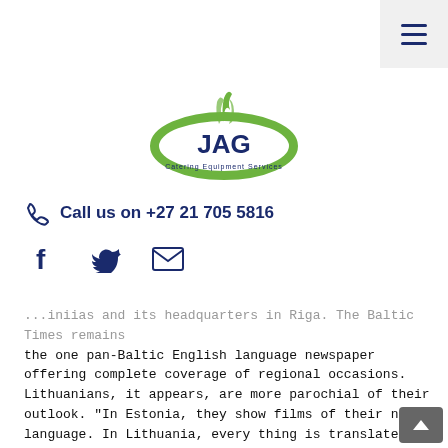[Figure (logo): JAG Catering Equipment Services logo — green oval with 'JAG' text in navy blue, green flame/steam above, small text below]
Call us on +27 21 705 5816
[Figure (other): Social media icons: Facebook (f), Twitter (bird), Email (envelope) in navy blue]
...iniias and its headquarters in Riga. The Baltic Times remains the one pan-Baltic English language newspaper offering complete coverage of regional occasions. Lithuanians, it appears, are more parochial of their outlook. "In Estonia, they show films of their native language. In Lithuania, every thing is translated or dubbed," Linikaite mentioned. I'm not Estonian however I live in Estonia and so I know first hand of the nature of the country.